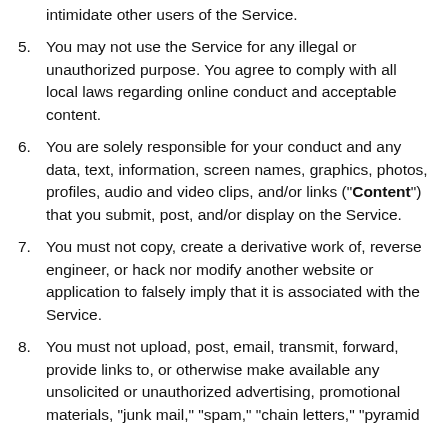intimidate other users of the Service.
5. You may not use the Service for any illegal or unauthorized purpose. You agree to comply with all local laws regarding online conduct and acceptable content.
6. You are solely responsible for your conduct and any data, text, information, screen names, graphics, photos, profiles, audio and video clips, and/or links (“Content”) that you submit, post, and/or display on the Service.
7. You must not copy, create a derivative work of, reverse engineer, or hack nor modify another website or application to falsely imply that it is associated with the Service.
8. You must not upload, post, email, transmit, forward, provide links to, or otherwise make available any unsolicited or unauthorized advertising, promotional materials, “junk mail,” “spam,” “chain letters,” “pyramid